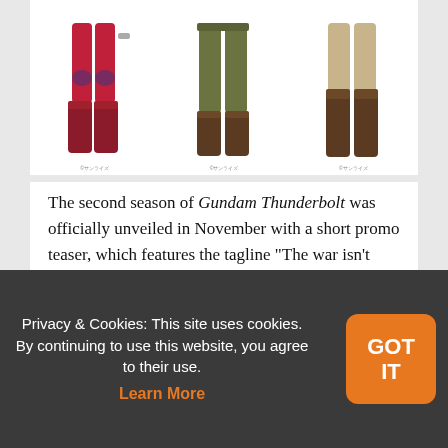[Figure (illustration): Three anime character illustrations showing lower bodies/legs: left character in red suit with boots, center character in olive/green pants with brown boots, right character in beige/tan pants with tall brown boots. Each has a small Japanese text label beneath.]
The second season of Gundam Thunderbolt was officially unveiled in November with a short promo teaser, which features the tagline “The war isn’t over yet…”
[Figure (screenshot): Black video player area]
Privacy & Cookies: This site uses cookies. By continuing to use this website, you agree to their use. Learn More
GOT IT